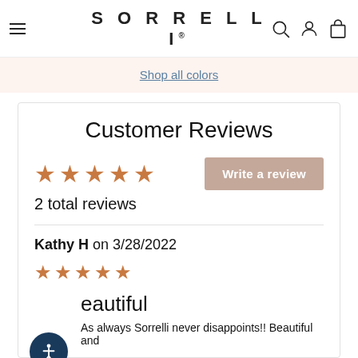SORRELLI
Shop all colors
Customer Reviews
2 total reviews
Write a review
Kathy H on 3/28/2022
Beautiful
As always Sorrelli never disappoints!! Beautiful and